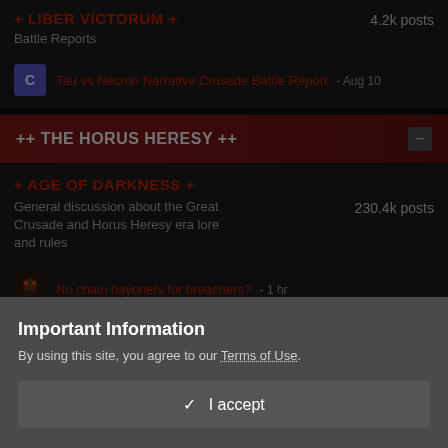+ LIBER VICTORUM +
Battle Reports
4.2k posts
Tau vs Necron Narrative Crusade Battle Report - Aug 10
++ THE HORUS HERESY ++
+ AGE OF DARKNESS +
General discussion about the Great Crusade and Horus Heresy era lore and rules
230.4k posts
No chain bayonets for breachers? - 1 hr
Important Information
By using this site, you agree to our Terms of Use.
✓ I accept